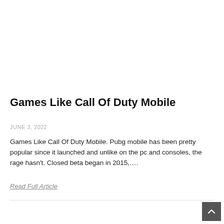Games Like Call Of Duty Mobile
JUNE 3, 2022
Games Like Call Of Duty Mobile. Pubg mobile has been pretty popular since it launched and unlike on the pc and consoles, the rage hasn't. Closed beta began in 2015,….
Read Full Article